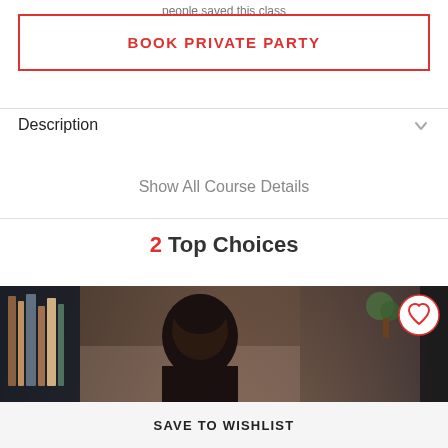people saved this class
BOOK PRIVATE PARTY
Description
Show All Course Details
2 Top Choices
[Figure (photo): Photo showing a person from behind, in a room with shelves and a plant]
SAVE TO WISHLIST